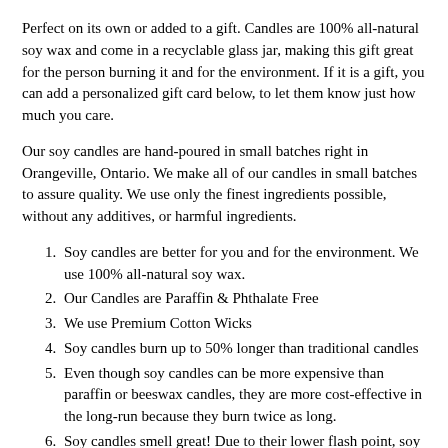Perfect on its own or added to a gift. Candles are 100% all-natural soy wax and come in a recyclable glass jar, making this gift great for the person burning it and for the environment. If it is a gift, you can add a personalized gift card below, to let them know just how much you care.
Our soy candles are hand-poured in small batches right in Orangeville, Ontario. We make all of our candles in small batches to assure quality. We use only the finest ingredients possible, without any additives, or harmful ingredients.
Soy candles are better for you and for the environment. We use 100% all-natural soy wax.
Our Candles are Paraffin & Phthalate Free
We use Premium Cotton Wicks
Soy candles burn up to 50% longer than traditional candles
Even though soy candles can be more expensive than paraffin or beeswax candles, they are more cost-effective in the long-run because they burn twice as long.
Soy candles smell great! Due to their lower flash point, soy candles smell stronger and the scent lasts longer than traditional candles.